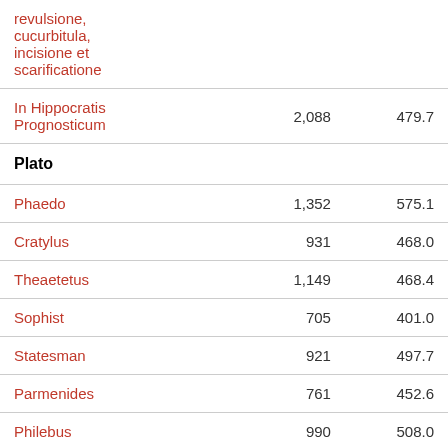| Work |  |  |
| --- | --- | --- |
| revulsione, cucurbitula, incisione et scarificatione |  |  |
| In Hippocratis Prognosticum | 2,088 | 479.7 |
| Plato |  |  |
| Phaedo | 1,352 | 575.1 |
| Cratylus | 931 | 468.0 |
| Theaetetus | 1,149 | 468.4 |
| Sophist | 705 | 401.0 |
| Statesman | 921 | 497.7 |
| Parmenides | 761 | 452.6 |
| Philebus | 990 | 508.0 |
| Phaedrus | 813 | 448.3 |